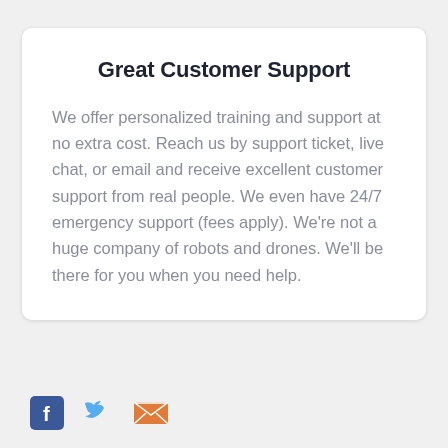Great Customer Support
We offer personalized training and support at no extra cost. Reach us by support ticket, live chat, or email and receive excellent customer support from real people. We even have 24/7 emergency support (fees apply). We're not a huge company of robots and drones. We'll be there for you when you need help.
[Figure (illustration): Social media icons: Facebook (blue), Twitter (blue bird), Email (orange envelope)]